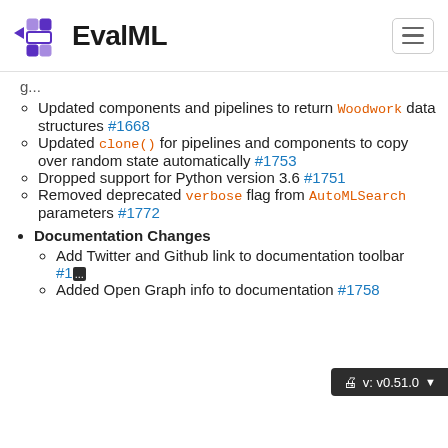EvalML
Updated components and pipelines to return Woodwork data structures #1668
Updated clone() for pipelines and components to copy over random state automatically #1753
Dropped support for Python version 3.6 #1751
Removed deprecated verbose flag from AutoMLSearch parameters #1772
Documentation Changes
Add Twitter and Github link to documentation toolbar #1774
Added Open Graph info to documentation #1758